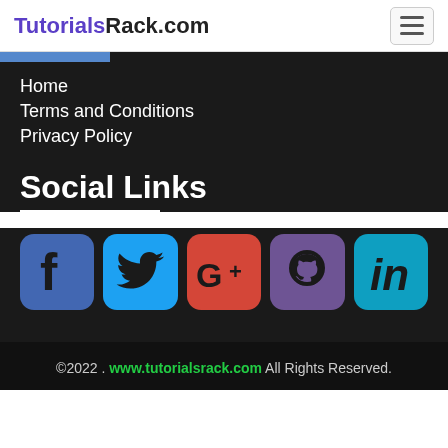TutorialsRack.com
Home
Terms and Conditions
Privacy Policy
Social Links
[Figure (illustration): Row of five social media icons: Facebook (blue), Twitter (light blue), Google+ (red), GitHub (purple), LinkedIn (cyan)]
©2022 . www.tutorialsrack.com All Rights Reserved.